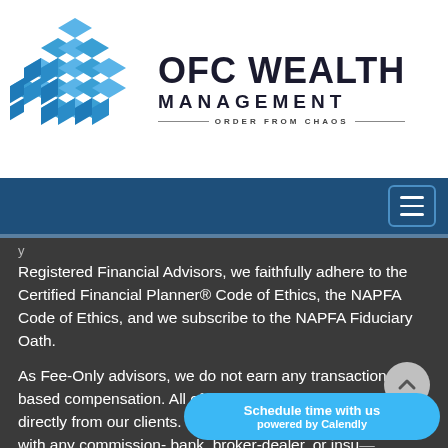[Figure (logo): OFC Wealth Management logo — a 3D cube made of blue diamond shapes on the left, with large bold text 'OFC WEALTH MANAGEMENT' and tagline 'ORDER FROM CHAOS' on the right]
Registered Financial Advisors, we faithfully adhere to the Certified Financial Planner® Code of Ethics, the NAPFA Code of Ethics, and we subscribe to the NAPFA Fiduciary Oath.
As Fee-Only advisors, we do not earn any transaction-based compensation. All of our compensation comes directly from our clients. Furthermore, we are not affiliated with any commission- bank, broker-dealer, or insu-